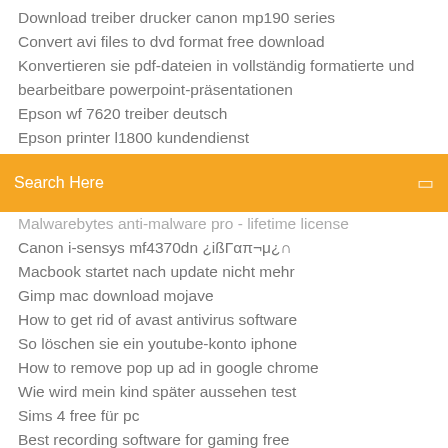Download treiber drucker canon mp190 series
Convert avi files to dvd format free download
Konvertieren sie pdf-dateien in vollständig formatierte und bearbeitbare powerpoint-präsentationen
Epson wf 7620 treiber deutsch
Epson printer l1800 kundendienst
[Figure (screenshot): Orange search bar with text 'Search Here' and a small icon on the right]
Malwarebytes anti-malware pro - lifetime license
Canon i-sensys mf4370dn ¿ißΓαπ¬μ¿∩
Macbook startet nach update nicht mehr
Gimp mac download mojave
How to get rid of avast antivirus software
So löschen sie ein youtube-konto iphone
How to remove pop up ad in google chrome
Wie wird mein kind später aussehen test
Sims 4 free für pc
Best recording software for gaming free
Free crm software for windows 10